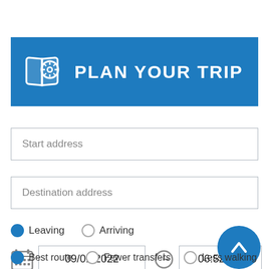[Figure (screenshot): Plan Your Trip transit planner UI with header banner, start/destination address fields, leaving/arriving radio buttons, date field showing 09/01/2022, time field showing 06:52 am, and route preference radio buttons.]
PLAN YOUR TRIP
Start address
Destination address
Leaving  Arriving
09/01/2022
06:52 am
Best route  Fewer transfers  Less walking